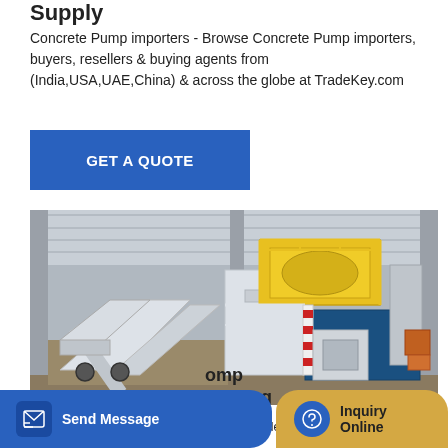Supply
Concrete Pump importers - Browse Concrete Pump importers, buyers, resellers & buying agents from (India,USA,UAE,China) & across the globe at TradeKey.com
[Figure (other): Blue 'GET A QUOTE' button]
[Figure (photo): Industrial concrete pump / batching plant machine inside a factory warehouse with white steel structure, yellow mixer unit, yellow safety railings]
Send Message
Inquiry Online